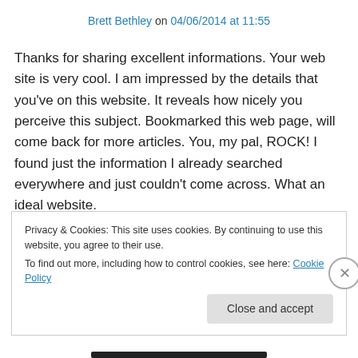Brett Bethley on 04/06/2014 at 11:55
Thanks for sharing excellent informations. Your web site is very cool. I am impressed by the details that you’ve on this website. It reveals how nicely you perceive this subject. Bookmarked this web page, will come back for more articles. You, my pal, ROCK! I found just the information I already searched everywhere and just couldn’t come across. What an ideal website.
Privacy & Cookies: This site uses cookies. By continuing to use this website, you agree to their use. To find out more, including how to control cookies, see here: Cookie Policy